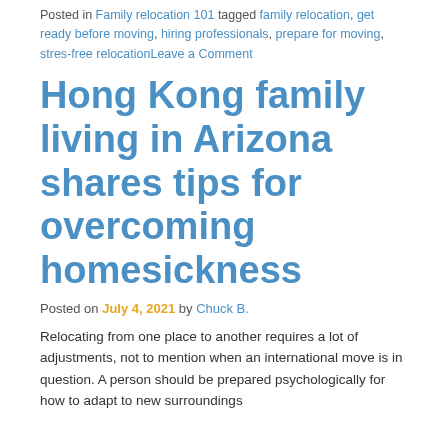Posted in Family relocation 101 tagged family relocation, get ready before moving, hiring professionals, prepare for moving, stres-free relocationLeave a Comment
Hong Kong family living in Arizona shares tips for overcoming homesickness
Posted on July 4, 2021 by Chuck B.
Relocating from one place to another requires a lot of adjustments, not to mention when an international move is in question. A person should be prepared psychologically for how to adapt to new surroundings